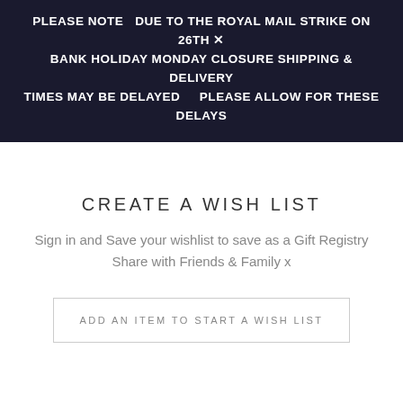PLEASE NOTE  DUE TO THE ROYAL MAIL STRIKE ON 26TH × BANK HOLIDAY MONDAY CLOSURE SHIPPING & DELIVERY TIMES MAY BE DELAYED    PLEASE ALLOW FOR THESE DELAYS
CREATE A WISH LIST
Sign in and Save your wishlist to save as a Gift Registry Share with Friends & Family x
ADD AN ITEM TO START A WISH LIST